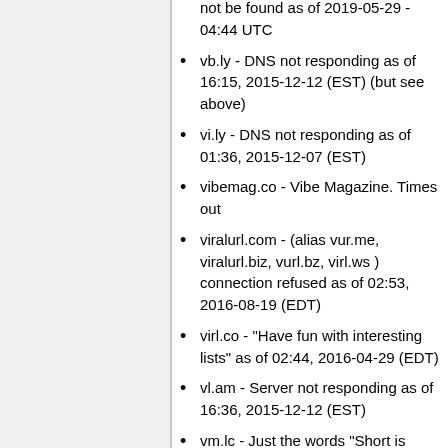not be found as of 2019-05-29 - 04:44 UTC
vb.ly - DNS not responding as of 16:15, 2015-12-12 (EST) (but see above)
vi.ly - DNS not responding as of 01:36, 2015-12-07 (EST)
vibemag.co - Vibe Magazine. Times out
viralurl.com - (alias vur.me, viralurl.biz, vurl.bz, virl.ws ) connection refused as of 02:53, 2016-08-19 (EDT)
virl.co - "Have fun with interesting lists" as of 02:44, 2016-04-29 (EDT)
vl.am - Server not responding as of 16:36, 2015-12-12 (EST)
vm.lc - Just the words "Short is cool..." as of 02:44, 2016-04-29